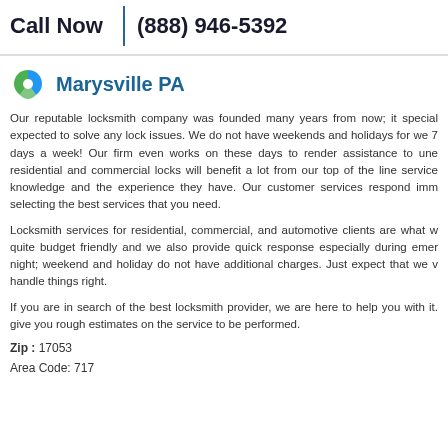Call Now | (888) 946-5392
Marysville PA
Our reputable locksmith company was founded many years from now; it special expected to solve any lock issues. We do not have weekends and holidays for we 7 days a week! Our firm even works on these days to render assistance to une residential and commercial locks will benefit a lot from our top of the line service knowledge and the experience they have. Our customer services respond imm selecting the best services that you need.
Locksmith services for residential, commercial, and automotive clients are what w quite budget friendly and we also provide quick response especially during emer night; weekend and holiday do not have additional charges. Just expect that we v handle things right.
If you are in search of the best locksmith provider, we are here to help you with it. give you rough estimates on the service to be performed.
Zip : 17053
Area Code: 717